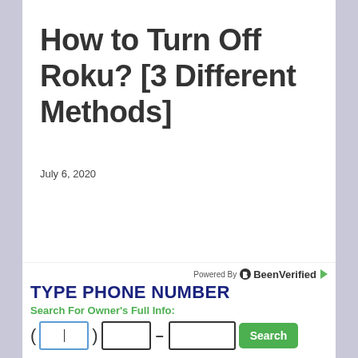How to Turn Off Roku? [3 Different Methods]
July 6, 2020
[Figure (screenshot): BeenVerified advertisement widget with phone number search form. Shows 'Powered By BeenVerified' logo, 'TYPE PHONE NUMBER' heading in dark blue, 'Search For Owner's Full Info:' subheading in green, and phone input fields with a green Search button.]